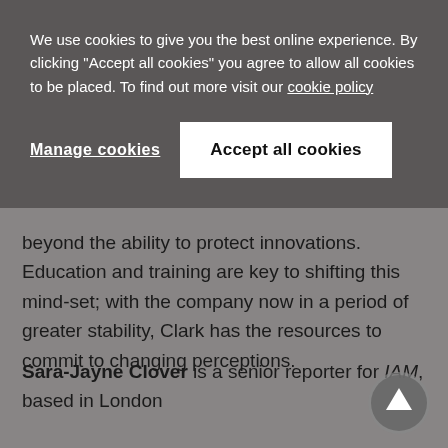We use cookies to give you the best online experience. By clicking "Accept all cookies" you agree to allow all cookies to be placed. To find out more visit our cookie policy
Manage cookies
Accept all cookies
beyond the ability to protect innovations. Education and training are key to shifting this mind-set; with the company now in a period of greater stability, Clark has the resources to commit to changing perceptions.
Sara-Jayne Clover is a senior reporter for IAM, based in London